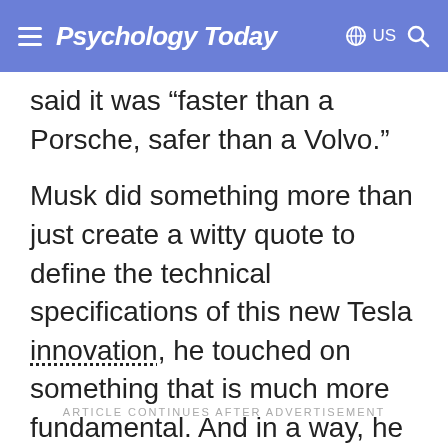Psychology Today — US
said it was “faster than a Porsche, safer than a Volvo.”
Musk did something more than just create a witty quote to define the technical specifications of this new Tesla innovation, he touched on something that is much more fundamental. And in a way, he has revealed (and leveraged) a basic, almost limbic, psychodynamic to much of today's innovation and transformation.
ARTICLE CONTINUES AFTER ADVERTISEMENT